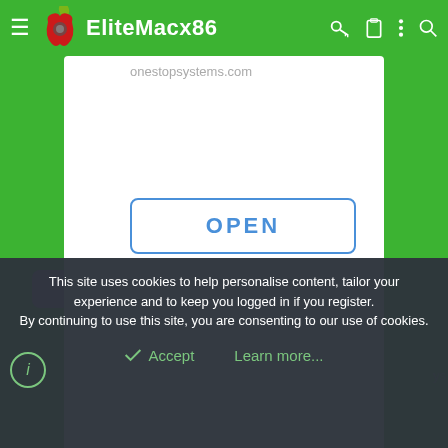[Figure (screenshot): EliteMacx86 website screenshot showing a mobile browser view with a green navigation bar containing the EliteMacx86 logo (red apple with gear) and site title, an app listing page with a white modal/card showing a URL 'onestopsystems.com' and an OPEN button with blue border and text, partially visible app icons on left side, and a dark cookie consent overlay at the bottom with Accept and Learn more buttons.]
onestopsystems.com
OPEN
This site uses cookies to help personalise content, tailor your experience and to keep you logged in if you register.
By continuing to use this site, you are consenting to our use of cookies.
Accept
Learn more...